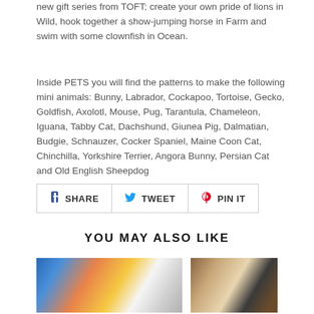new gift series from TOFT; create your own pride of lions in Wild, hook together a show-jumping horse in Farm and swim with some clownfish in Ocean.
Inside PETS you will find the patterns to make the following mini animals: Bunny, Labrador, Cockapoo, Tortoise, Gecko, Goldfish, Axolotl, Mouse, Pug, Tarantula, Chameleon, Iguana, Tabby Cat, Dachshund, Giunea Pig, Dalmatian, Budgie, Schnauzer, Cocker Spaniel, Maine Coon Cat, Chinchilla, Yorkshire Terrier, Angora Bunny, Persian Cat and Old English Sheepdog
[Figure (other): Social sharing buttons: Facebook SHARE, Twitter TWEET, Pinterest PIN IT]
YOU MAY ALSO LIKE
[Figure (photo): Photo of crocheted animals including blue, orange and white figures]
[Figure (photo): Photo of crocheted animals in brown and black and white tones]